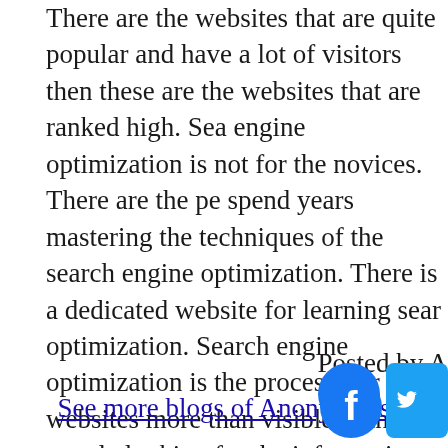There are the websites that are quite popular and have a lot of visitors then these are the websites that are ranked high. Search engine optimization is not for the novices. There are the people spend years mastering the techniques of the search engine optimization. There is a dedicated website for learning search optimization. Search engine optimization is the process of making the websites more than visible to the people looking for the information. There are the product and service websites where owners of the website offer certain kinds of services to the customers. The people who are offering services are the ones Sydney based.
Posted by A
See more blogs of Anonymous
[Figure (illustration): Facebook and Twitter social media icons]